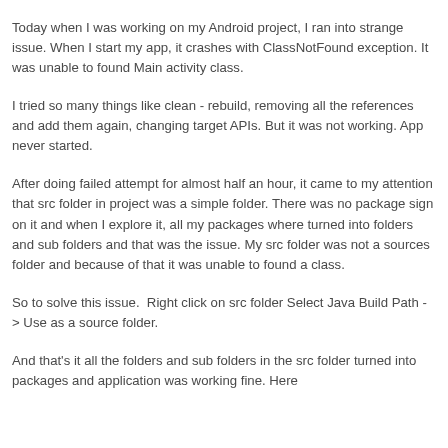Today when I was working on my Android project, I ran into strange issue. When I start my app, it crashes with ClassNotFound exception. It was unable to found Main activity class.
I tried so many things like clean - rebuild, removing all the references and add them again, changing target APIs. But it was not working. App never started.
After doing failed attempt for almost half an hour, it came to my attention that src folder in project was a simple folder. There was no package sign on it and when I explore it, all my packages where turned into folders and sub folders and that was the issue. My src folder was not a sources folder and because of that it was unable to found a class.
So to solve this issue.  Right click on src folder Select Java Build Path - > Use as a source folder.
And that's it all the folders and sub folders in the src folder turned into packages and application was working fine. Here